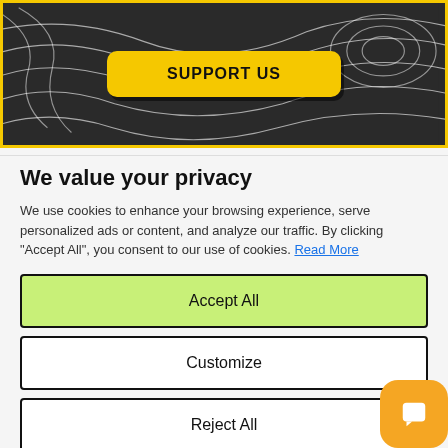[Figure (illustration): Dark banner with topographic contour lines and a yellow 'SUPPORT US' button in the center]
We value your privacy
We use cookies to enhance your browsing experience, serve personalized ads or content, and analyze our traffic. By clicking "Accept All", you consent to our use of cookies. Read More
Accept All
Customize
Reject All